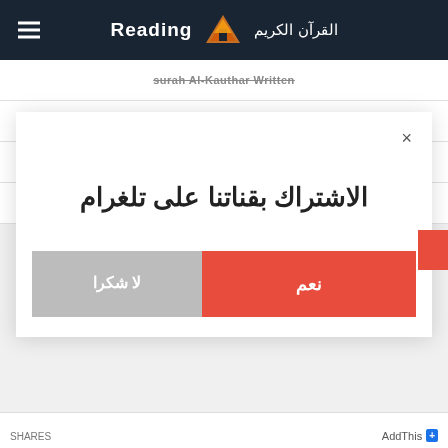Reading — القرآن الكريم
surah Al-Kauthar Written
surah Al-Kauthar Narrated by Warsh from Nafi
surah Al-Kauthar Narrated by Qaloon from Nafi
Download surah Al-Kauthar pdf
الاشتراك بقناتنا على تلغرام
نعم
لا شكرا
AddThis +